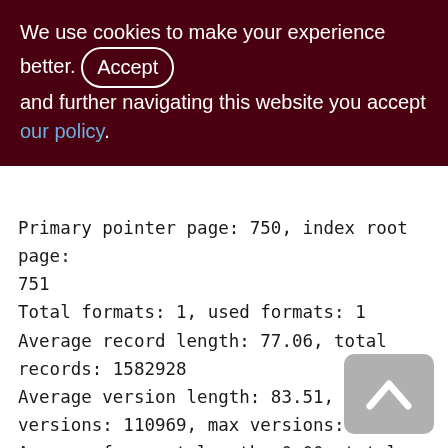We use cookies to make your experience better. By accepting and further navigating this website you accept our policy.
Primary pointer page: 750, index root page: 751
Total formats: 1, used formats: 1
Average record length: 77.06, total records: 1582928
Average version length: 83.51, total versions: 110969, max versions: 1
Average fragment length: 0.00, total fragments: 0, max fragments: 0
Average unpacked length: 136.00, compression ratio: 1.76
Pointer pages: 16, data page slots: 25056
Data pages: 25056, average fill: 78%